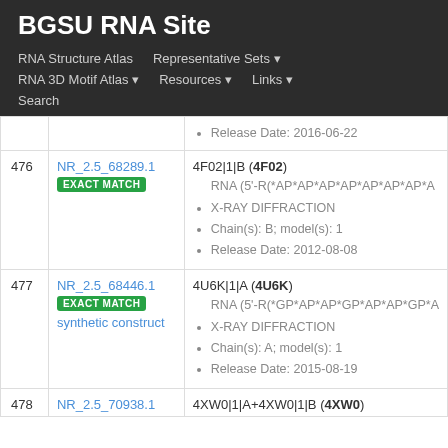BGSU RNA Site
RNA Structure Atlas | Representative Sets ▾ | RNA 3D Motif Atlas ▾ | Resources ▾ | Links ▾ | Search
| # | ID | Details |
| --- | --- | --- |
|  |  | Release Date: 2016-06-22 |
| 476 | NR_2.5_68289.1
EXACT MATCH | 4F02|1|B (4F02)
RNA (5'-R(*AP*AP*AP*AP*AP*AP*AP*A...
X-RAY DIFFRACTION
Chain(s): B; model(s): 1
Release Date: 2012-08-08 |
| 477 | NR_2.5_68446.1
EXACT MATCH
synthetic construct | 4U6K|1|A (4U6K)
RNA (5'-R(*GP*AP*AP*GP*AP*AP*GP*A...
X-RAY DIFFRACTION
Chain(s): A; model(s): 1
Release Date: 2015-08-19 |
| 478 | NR_2.5_70938.1 | 4XW0|1|A+4XW0|1|B (4XW0) |